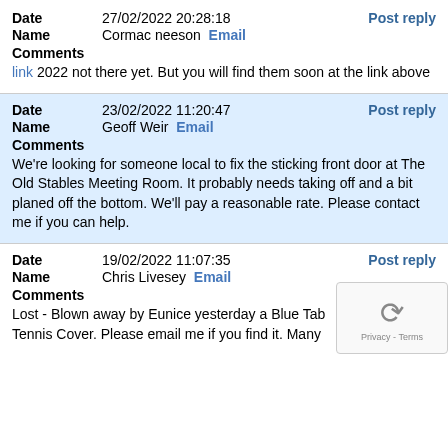Date: 27/02/2022 20:28:18 | Post reply
Name: Cormac neeson Email
Comments
link 2022 not there yet. But you will find them soon at the link above
Date: 23/02/2022 11:20:47 | Post reply
Name: Geoff Weir Email
Comments
We're looking for someone local to fix the sticking front door at The Old Stables Meeting Room. It probably needs taking off and a bit planed off the bottom. We'll pay a reasonable rate. Please contact me if you can help.
Date: 19/02/2022 11:07:35 | Post reply
Name: Chris Livesey Email
Comments
Lost - Blown away by Eunice yesterday a Blue Tab Tennis Cover. Please email me if you find it. Many